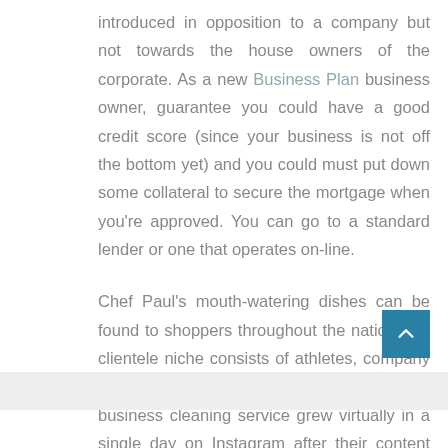introduced in opposition to a company but not towards the house owners of the corporate. As a new Business Plan business owner, guarantee you could have a good credit score (since your business is not off the bottom yet) and you could must put down some collateral to secure the mortgage when you're approved. You can go to a standard lender or one that operates on-line.

Chef Paul's mouth-watering dishes can be found to shoppers throughout the nation. His clientele niche consists of athletes, company businesses, and local gyms. This small business cleaning service grew virtually in a single day on Instagram after their content went viral through the pandemic. With a .